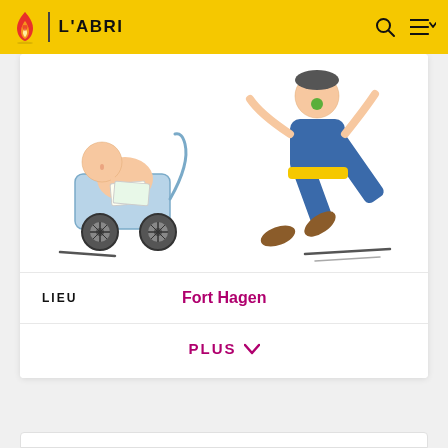L'ABRI
[Figure (illustration): Cartoon illustration showing a baby in a stroller on the left and a person falling or running on the right, with scattered lines suggesting motion or objects on the ground.]
LIEU   Fort Hagen
PLUS